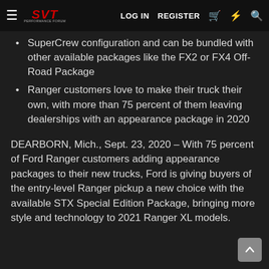SVT Performance Forum — LOG IN  REGISTER
SuperCrew configuration and can be bundled with other available packages like the FX2 or FX4 Off-Road Package
Ranger customers love to make their truck their own, with more than 75 percent of them leaving dealerships with an appearance package in 2020
DEARBORN, Mich., Sept. 23, 2020 – With 75 percent of Ford Ranger customers adding appearance packages to their new trucks, Ford is giving buyers of the entry-level Ranger pickup a new choice with the available STX Special Edition Package, bringing more style and technology to 2021 Ranger XL models.